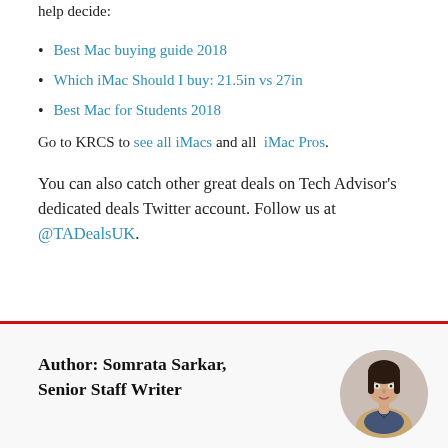help decide:
Best Mac buying guide 2018
Which iMac Should I buy: 21.5in vs 27in
Best Mac for Students 2018
Go to KRCS to see all iMacs and all iMac Pros.
You can also catch other great deals on Tech Advisor's dedicated deals Twitter account. Follow us at @TADealsUK.
Author: Somrata Sarkar, Senior Staff Writer
[Figure (photo): Circular headshot photo of Somrata Sarkar, a woman with dark hair wearing a light jacket]